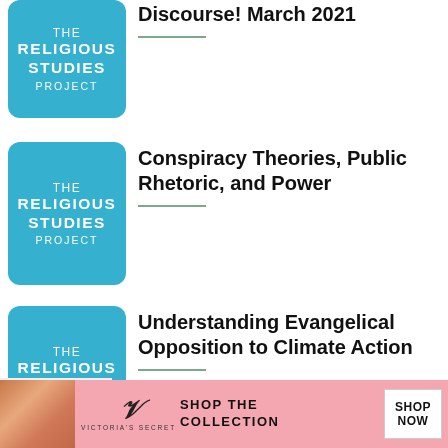[Figure (logo): The Religious Studies Project logo - teal/blue rounded square with white text]
Discourse! March 2021
[Figure (logo): The Religious Studies Project logo - teal/blue rounded square with white text]
Conspiracy Theories, Public Rhetoric, and Power
[Figure (logo): The Religious Studies Project logo - teal/blue rounded square with white text]
Understanding Evangelical Opposition to Climate Action
[Figure (illustration): Victoria's Secret advertisement banner with model photo, VS logo, SHOP THE COLLECTION text, and SHOP NOW button]